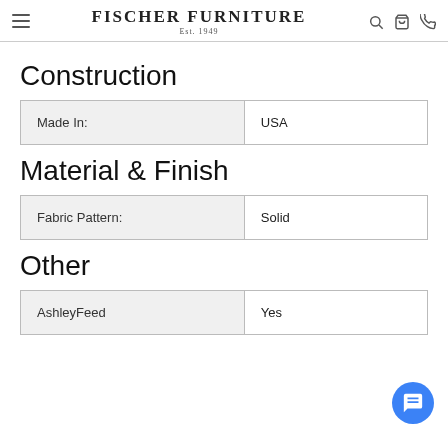Fischer Furniture Est. 1949
Construction
| Made In: | USA |
Material & Finish
| Fabric Pattern: | Solid |
Other
| AshleyFeed | Yes |